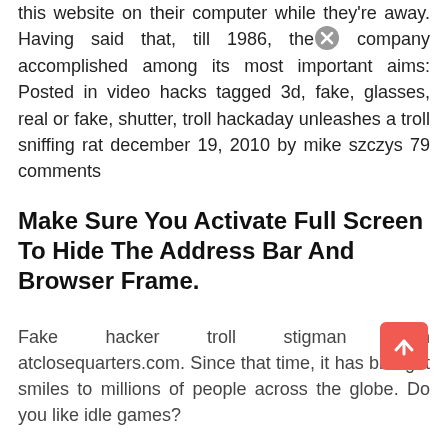this website on their computer while they're away. Having said that, till 1986, the company accomplished among its most important aims: Posted in video hacks tagged 3d, fake, glasses, real or fake, shutter, troll hackaday unleashes a troll sniffing rat december 19, 2010 by mike szczys 79 comments
Make Sure You Activate Full Screen To Hide The Address Bar And Browser Frame.
Fake hacker troll stigman from atclosequarters.com. Since that time, it has brought smiles to millions of people across the globe. Do you like idle games?
There Is No Real Hacking Going On.
Start clicking that ugly and deformed but familiar face, add upgrades and collect more and more trollfaces. It is a prank app that helps you to troll your